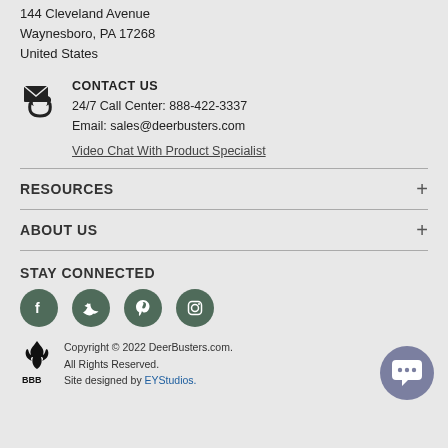144 Cleveland Avenue
Waynesboro, PA 17268
United States
CONTACT US
24/7 Call Center: 888-422-3337
Email: sales@deerbusters.com
Video Chat With Product Specialist
RESOURCES
ABOUT US
STAY CONNECTED
[Figure (infographic): Social media icons: Facebook, Twitter, Pinterest, Instagram — dark green circles]
[Figure (logo): BBB (Better Business Bureau) logo]
Copyright © 2022 DeerBusters.com.
All Rights Reserved.
Site designed by EYStudios.
[Figure (infographic): Chat bubble icon in gray-purple circle, bottom right corner]